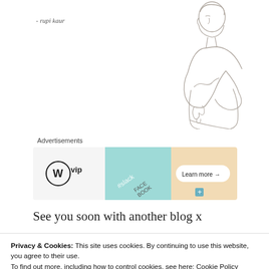- rupi kaur
[Figure (illustration): Line drawing illustration of a person resting their head on their hand in a contemplative pose]
Advertisements
[Figure (infographic): WordPress VIP advertisement banner with icons for Slack, Facebook and other tools. Features 'Learn more' button with arrow.]
See you soon with another blog x
Privacy & Cookies: This site uses cookies. By continuing to use this website, you agree to their use.
To find out more, including how to control cookies, see here: Cookie Policy
Close and accept